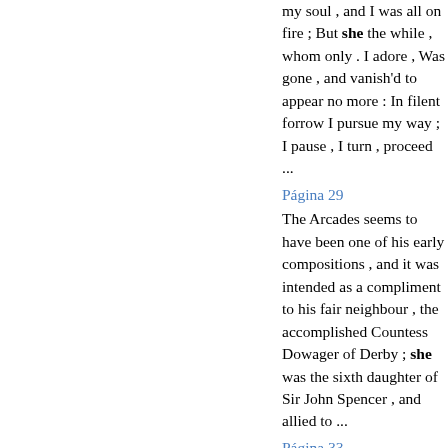my soul , and I was all on fire ; But she the while , whom only . I adore , Was gone , and vanish'd to appear no more : In filent forrow I pursue my way ; I pause , I turn , proceed ...
Página 29
The Arcades seems to have been one of his early compositions , and it was intended as a compliment to his fair neighbour , the accomplished Countess Dowager of Derby ; she was the sixth daughter of Sir John Spencer , and allied to ...
Página 33
For thee , my father , howsoe'er it please , She frames this slender work ...